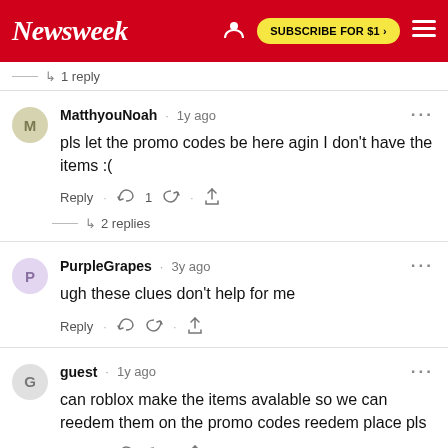Newsweek | SUBSCRIBE FOR $1 >
↳ 1 reply
MatthyouNoah · 1y ago
pls let the promo codes be here agin I don't have the items :(
Reply · 👍 1 👎 · ⬆
↳ 2 replies
PurpleGrapes · 3y ago
ugh these clues don't help for me
Reply · 👍 👎 · ⬆
guest · 1y ago
can roblox make the items avalable so we can reedem them on the promo codes reedem place pls
Reply · 👍 👎 · ⬆